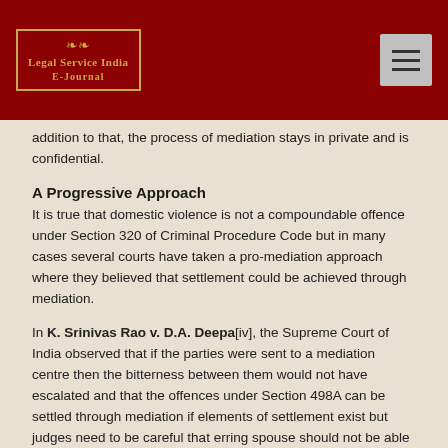Legal Service India E-Journal
addition to that, the process of mediation stays in private and is confidential.
A Progressive Approach
It is true that domestic violence is not a compoundable offence under Section 320 of Criminal Procedure Code but in many cases several courts have taken a pro-mediation approach where they believed that settlement could be achieved through mediation.
In K. Srinivas Rao v. D.A. Deepa[iv], the Supreme Court of India observed that if the parties were sent to a mediation centre then the bitterness between them would not have escalated and that the offences under Section 498A can be settled through mediation if elements of settlement exist but judges need to be careful that erring spouse should not be able to get out of clutches of law by manipulating the mediation.